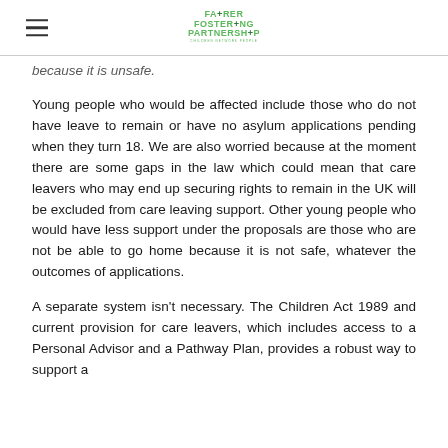Fairer Fostering Partnership
because it is unsafe.
Young people who would be affected include those who do not have leave to remain or have no asylum applications pending when they turn 18. We are also worried because at the moment there are some gaps in the law which could mean that care leavers who may end up securing rights to remain in the UK will be excluded from care leaving support. Other young people who would have less support under the proposals are those who are not be able to go home because it is not safe, whatever the outcomes of applications.
A separate system isn't necessary. The Children Act 1989 and current provision for care leavers, which includes access to a Personal Advisor and a Pathway Plan, provides a robust way to support a